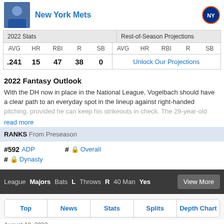New York Mets
| 2022 Stats |  |  |  |  | Rest-of-Season Projections |  |  |  |  |
| --- | --- | --- | --- | --- | --- | --- | --- | --- | --- |
| AVG | HR | RBI | R | SB | AVG | HR | RBI | R | SB |
| .241 | 15 | 47 | 38 | 0 | Unlock Our Projections |  |  |  |  |
2022 Fantasy Outlook
With the DH now in place in the National League, Vogelbach should have a clear path to an everyday spot in the lineup against right-handed pitching, provided he can keep his strikeouts in check. The 29-year-old
read more
RANKS From Preseason
#592 ADP
# Overall
# Dynasty
League Majors  Bats L  Throws R  40 Man Yes
View More
Top
News
Stats
Splits
Depth Chart
August 18, 2022